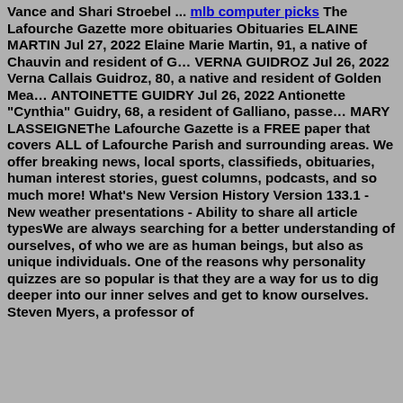Vance and Shari Stroebel ... mlb computer picks The Lafourche Gazette more obituaries Obituaries ELAINE MARTIN Jul 27, 2022 Elaine Marie Martin, 91, a native of Chauvin and resident of G… VERNA GUIDROZ Jul 26, 2022 Verna Callais Guidroz, 80, a native and resident of Golden Mea… ANTOINETTE GUIDRY Jul 26, 2022 Antionette "Cynthia" Guidry, 68, a resident of Galliano, passe… MARY LASSEIGNEThe Lafourche Gazette is a FREE paper that covers ALL of Lafourche Parish and surrounding areas. We offer breaking news, local sports, classifieds, obituaries, human interest stories, guest columns, podcasts, and so much more! What's New Version History Version 133.1 - New weather presentations - Ability to share all article typesWe are always searching for a better understanding of ourselves, of who we are as human beings, but also as unique individuals. One of the reasons why personality quizzes are so popular is that they are a way for us to dig deeper into our inner selves and get to know ourselves. Steven Myers, a professor of